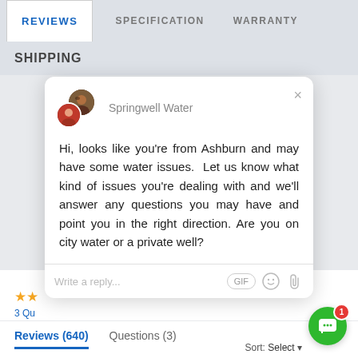REVIEWS   SPECIFICATION   WARRANTY
SHIPPING
[Figure (screenshot): Chat popup from Springwell Water with avatar icons, message text, and reply input field with GIF, emoji, and attachment icons]
Hi, looks like you're from Ashburn and may have some water issues.  Let us know what kind of issues you're dealing with and we'll answer any questions you may have and point you in the right direction. Are you on city water or a private well?
Reviews (640)   Questions (3)
Sort: Select